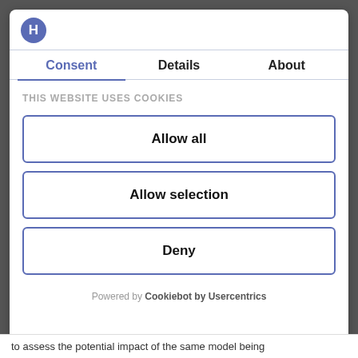[Figure (screenshot): Cookie consent modal dialog with H logo, three tabs (Consent, Details, About), a section heading 'THIS WEBSITE USES COOKIES', and three buttons: Allow all, Allow selection, Deny. Powered by Cookiebot by Usercentrics.]
to assess the potential impact of the same model being